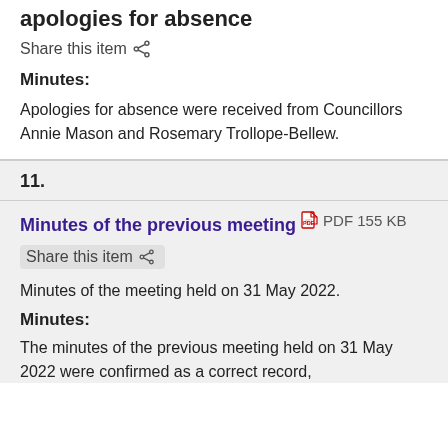apologies for absence
Share this item
Minutes:
Apologies for absence were received from Councillors Annie Mason and Rosemary Trollope-Bellew.
11.
Minutes of the previous meeting  PDF 155 KB
Share this item
Minutes of the meeting held on 31 May 2022.
Minutes:
The minutes of the previous meeting held on 31 May 2022 were confirmed as a correct record,